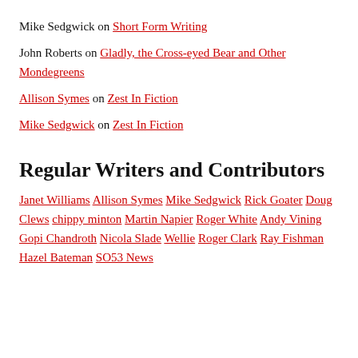Mike Sedgwick on Short Form Writing
John Roberts on Gladly, the Cross-eyed Bear and Other Mondegreens
Allison Symes on Zest In Fiction
Mike Sedgwick on Zest In Fiction
Regular Writers and Contributors
Janet Williams Allison Symes Mike Sedgwick Rick Goater Doug Clews chippy minton Martin Napier Roger White Andy Vining Gopi Chandroth Nicola Slade Wellie Roger Clark Ray Fishman Hazel Bateman SO53 News